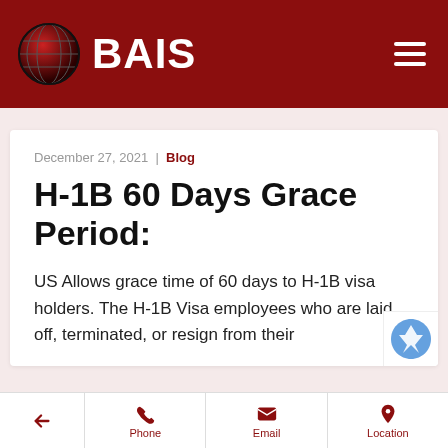BAIS
December 27, 2021 | Blog
H-1B 60 Days Grace Period:
US Allows grace time of 60 days to H-1B visa holders. The H-1B Visa employees who are laid off, terminated, or resign from their
← | Phone | Email | Location